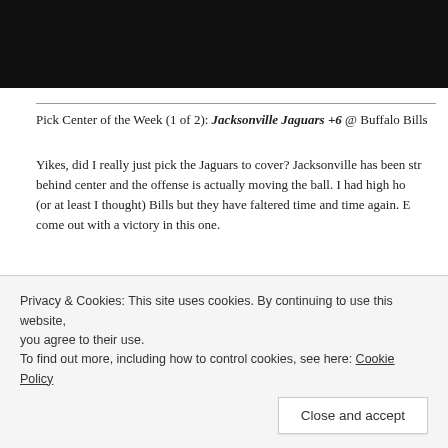[Figure (photo): Black image/video banner at top of page]
Pick Center of the Week (1 of 2): Jacksonville Jaguars +6 @ Buffalo Bills
Yikes, did I really just pick the Jaguars to cover? Jacksonville has been strong behind center and the offense is actually moving the ball. I had high hopes (or at least I thought) Bills but they have faltered time and time again. Expect them to come out with a victory in this one.
Score Prediction: Bills 27 – Jaguars 24
[Figure (photo): Partial image placeholder with image icon]
Privacy & Cookies: This site uses cookies. By continuing to use this website, you agree to their use.
To find out more, including how to control cookies, see here: Cookie Policy
Close and accept